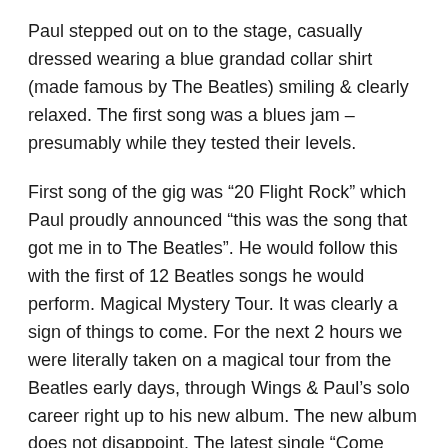Paul stepped out on to the stage, casually dressed wearing a blue grandad collar shirt (made famous by The Beatles) smiling & clearly relaxed. The first song was a blues jam – presumably while they tested their levels.
First song of the gig was “20 Flight Rock” which Paul proudly announced “this was the song that got me in to The Beatles”. He would follow this with the first of 12 Beatles songs he would perform. Magical Mystery Tour. It was clearly a sign of things to come. For the next 2 hours we were literally taken on a magical tour from the Beatles early days, through Wings & Paul’s solo career right up to his new album. The new album does not disappoint. The latest single “Come One To Me” was one of the best received of the whole gig, as were “Who Cares” & “Fuh You”. Each introduced with a story of how he wrote them – as a songwriter this was